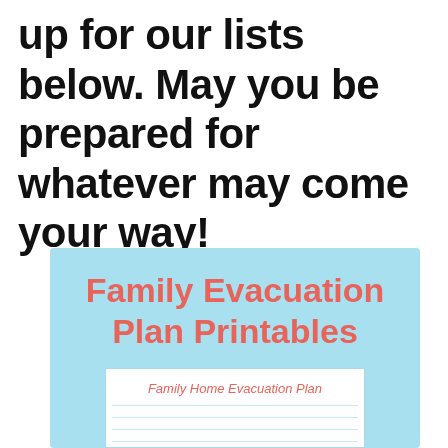up for our lists below. May you be prepared for whatever may come your way!
[Figure (illustration): Light blue card/banner for 'Family Evacuation Plan Printables' with a preview of a 'Family Home Evacuation Plan' document below it]